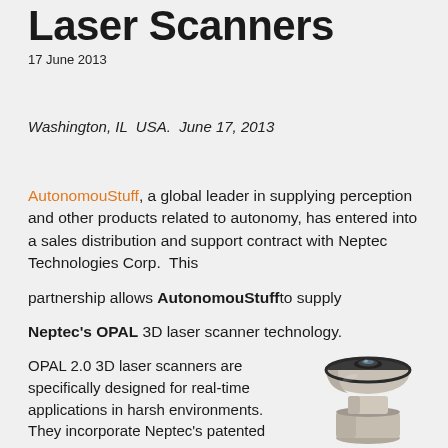Laser Scanners
17 June 2013
Washington, IL  USA.  June 17, 2013
AutonomouStuff, a global leader in supplying perception and other products related to autonomy, has entered into a sales distribution and support contract with Neptec Technologies Corp.  This partnership allows AutonomouStuff to supply Neptec's OPAL 3D laser scanner technology.
OPAL 2.0 3D laser scanners are specifically designed for real-time applications in harsh environments. They incorporate Neptec's patented
[Figure (photo): Photo of the Neptec OPAL 3D laser scanner device — a silver metallic dome-shaped sensor on a cylindrical base]